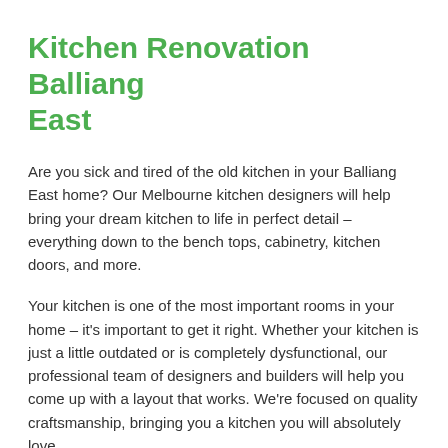Kitchen Renovation Balliang East
Are you sick and tired of the old kitchen in your Balliang East home? Our Melbourne kitchen designers will help bring your dream kitchen to life in perfect detail – everything down to the bench tops, cabinetry, kitchen doors, and more.
Your kitchen is one of the most important rooms in your home – it's important to get it right. Whether your kitchen is just a little outdated or is completely dysfunctional, our professional team of designers and builders will help you come up with a layout that works. We're focused on quality craftsmanship, bringing you a kitchen you will absolutely love.